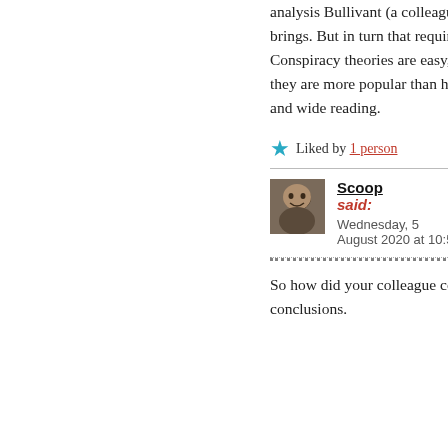analysis Bullivant (a colleague of mine) brings. But in turn that requires effort. Conspiracy theories are easy, it's why they are more popular than hard work and wide reading.
★ Liked by 1 person
Scoop said: Wednesday, 5 August 2020 at 10:58 pm
So how did your colleague come to his conclusions.